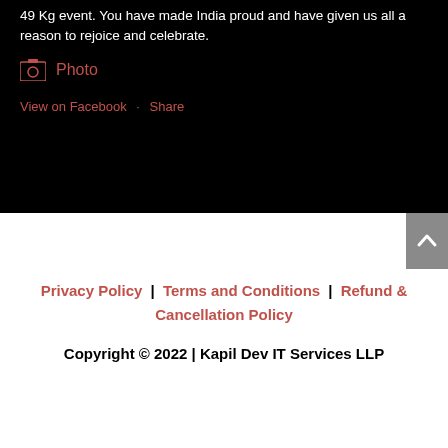49 Kg event. You have made India proud and have given us all a reason to rejoice and celebrate.
[Figure (other): Photo icon (image placeholder icon in dark red/salmon color)]
Photo
View on Facebook · Share
Privacy Policy | Terms and Conditions | Refund & Cancellation Policy
Copyright © 2022 | Kapil Dev IT Services LLP